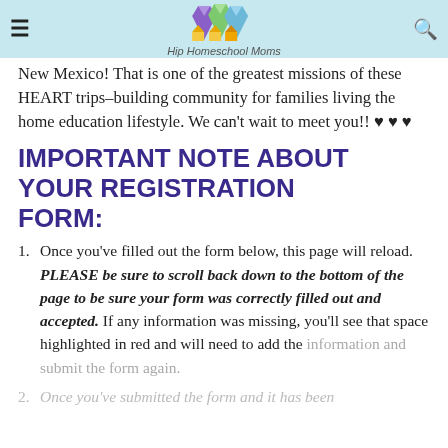Hip Homeschool Moms
New Mexico! That is one of the greatest missions of these HEART trips–building community for families living the home education lifestyle. We can't wait to meet you!! ♥ ♥ ♥
IMPORTANT NOTE ABOUT YOUR REGISTRATION FORM:
Once you've filled out the form below, this page will reload. PLEASE be sure to scroll back down to the bottom of the page to be sure your form was correctly filled out and accepted. If any information was missing, you'll see that space highlighted in red and will need to add the information and submit the form again.
Once you've submitted the form and it has been